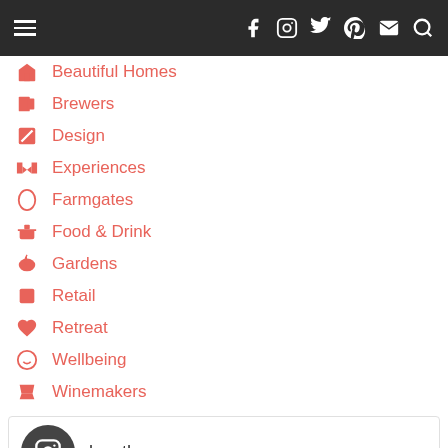Navigation bar with hamburger menu and social icons: Facebook, Instagram, Twitter, Pinterest, Email, Search
Beautiful Homes
Brewers
Design
Experiences
Farmgates
Food & Drink
Gardens
Retail
Retreat
Wellbeing
Winemakers
lovethepen
[Figure (screenshot): Instagram embed preview area with copy icon, partially visible image at bottom]